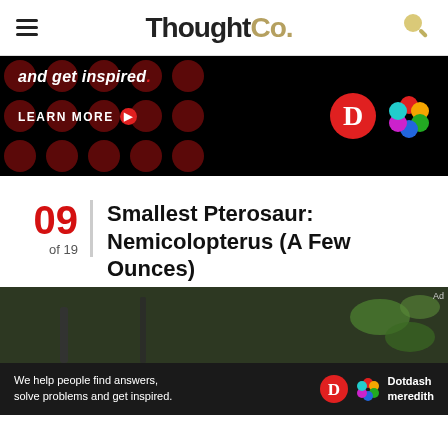ThoughtCo.
[Figure (screenshot): Advertisement banner: dark background with red dots pattern, text 'and get inspired.' with red period, 'LEARN MORE' button with red arrow, Dictionary.com red D logo and colorful flower-like logo on right]
09 of 19
Smallest Pterosaur: Nemicolopterus (A Few Ounces)
[Figure (photo): Close-up photo of what appears to be a small creature on a branch with green foliage, dark blurred background]
[Figure (screenshot): Bottom advertisement bar: dark background with text 'We help people find answers, solve problems and get inspired.' with Dictionary.com and Dotdash Meredith logos]